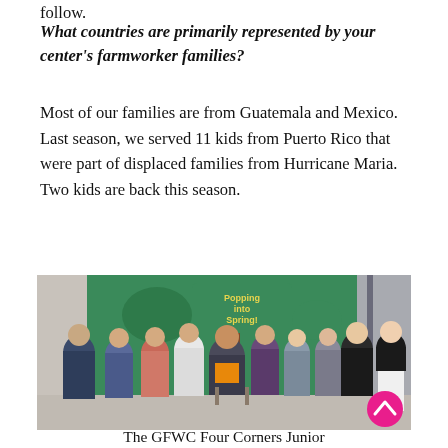follow.
What countries are primarily represented by your center's farmworker families?
Most of our families are from Guatemala and Mexico.  Last season, we served 11 kids from Puerto Rico that were part of displaced families from Hurricane Maria.  Two kids are back this season.
[Figure (photo): Group photo of approximately 11 people standing and one man seated in a chair, posing in front of a colorful mural that reads 'Popping into Spring!' The group includes women and one man in a suit and orange shirt seated centrally. Background shows a green illustrated mural.]
The GFWC Four Corners Junior